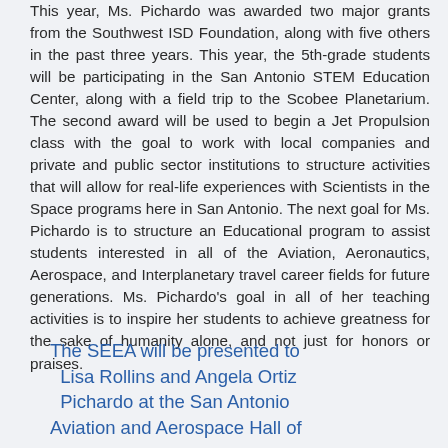This year, Ms. Pichardo was awarded two major grants from the Southwest ISD Foundation, along with five others in the past three years. This year, the 5th-grade students will be participating in the San Antonio STEM Education Center, along with a field trip to the Scobee Planetarium. The second award will be used to begin a Jet Propulsion class with the goal to work with local companies and private and public sector institutions to structure activities that will allow for real-life experiences with Scientists in the Space programs here in San Antonio. The next goal for Ms. Pichardo is to structure an Educational program to assist students interested in all of the Aviation, Aeronautics, Aerospace, and Interplanetary travel career fields for future generations. Ms. Pichardo's goal in all of her teaching activities is to inspire her students to achieve greatness for the sake of humanity alone, and not just for honors or praises.
The SEEA will be presented to Lisa Rollins and Angela Ortiz Pichardo at the San Antonio Aviation and Aerospace Hall of